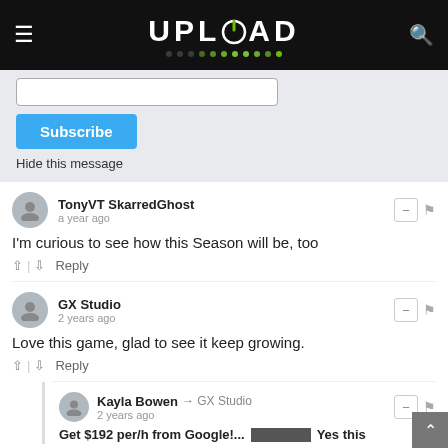UPLOAD
Subscribe
Hide this message
TonyVT SkarredGhost · a year ago
I'm curious to see how this Season will be, too
GX Studio · 2 years ago
Love this game, glad to see it keep growing.
Kayla Bowen → GX Studio · 2 years ago
Get $192 per/h from Google!... Yes this